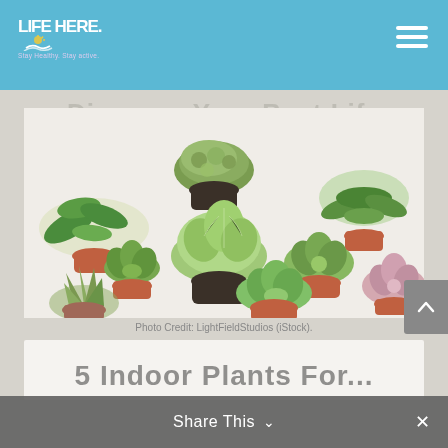LIFE HERE. Stay Healthy. Stay active.
Discover Your Best Life
Get Nutrition Advice, Find anything more about best
[Figure (photo): Top-down view of various succulent plants in terracotta pots arranged on a white background]
Photo Credit: LightFieldStudios (iStock).
Share This
5 Indoor Plants For...